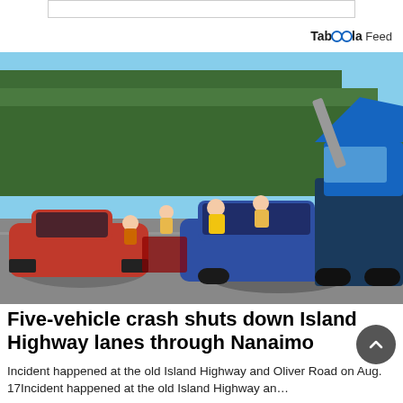[Figure (other): Taboola Feed advertisement bar at top of page]
Taboola Feed
[Figure (photo): A multi-vehicle crash scene on a highway. A red sports car and a blue hatchback are visibly damaged and in contact. A blue tow truck is on the right side. Emergency workers in yellow vests and other people are visible in the background with trees behind them.]
Five-vehicle crash shuts down Island Highway lanes through Nanaimo
Incident happened at the old Island Highway and Oliver Road on Aug. 17Incident happened at the old Island Highway an…